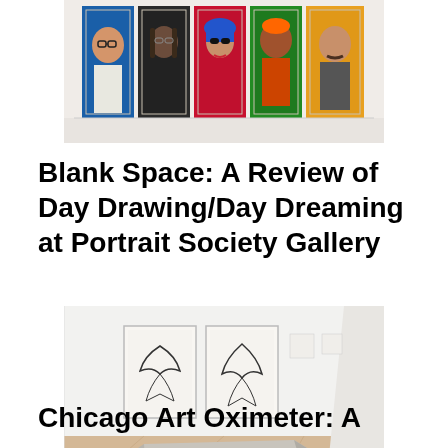[Figure (photo): A row of five colorful portrait paintings displayed on a white gallery wall. The paintings show stylized faces with bold colors including blue, red, green, and yellow backgrounds.]
Blank Space: A Review of Day Drawing/Day Dreaming at Portrait Society Gallery
[Figure (photo): Gallery interior showing a large flat stone or textile piece on a wooden floor, with two framed drawings hanging on the white wall in the background.]
Chicago Art Oximeter: A